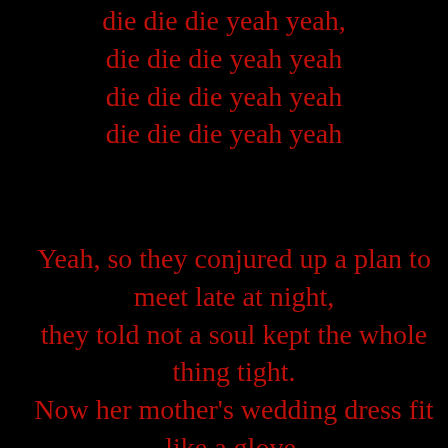die die die yeah yeah,
die die die yeah yeah
die die die yeah yeah
die die die yeah yeah
Yeah, so they conjured up a plan to meet late at night,
they told not a soul kept the whole thing tight.
Now her mother's wedding dress fit like a glove,
you don't need much when you're really in love.
Except for a few things or so I'm told,